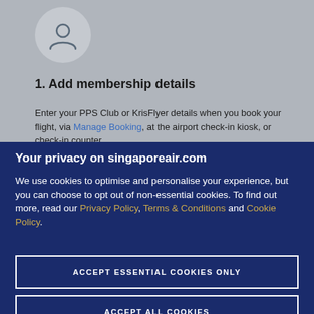[Figure (illustration): Person / user account icon inside a light gray circle]
1. Add membership details
Enter your PPS Club or KrisFlyer details when you book your flight, via Manage Booking, at the airport check-in kiosk, or check-in counter.
Your privacy on singaporeair.com
We use cookies to optimise and personalise your experience, but you can choose to opt out of non-essential cookies. To find out more, read our Privacy Policy, Terms & Conditions and Cookie Policy.
ACCEPT ESSENTIAL COOKIES ONLY
ACCEPT ALL COOKIES